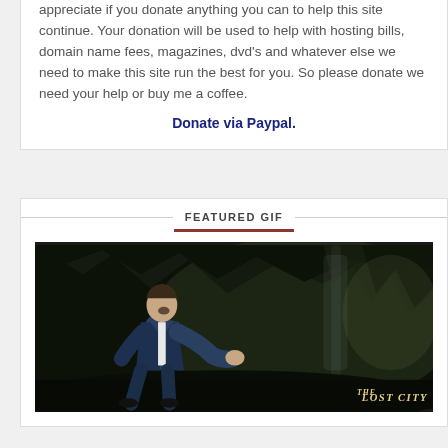appreciate if you donate anything you can to help this site continue. Your donation will be used to help with hosting bills, domain name fees, magazines, dvd's and whatever else we need to make this site run the best for you. So please donate we need your help or buy me a coffee.
Donate via Paypal.
FEATURED GIF
[Figure (photo): A man in a dark blue suit running or moving quickly in a dark cave/rocky environment with what appears to be a waterfall. The Lost City movie logo appears in the bottom right corner.]